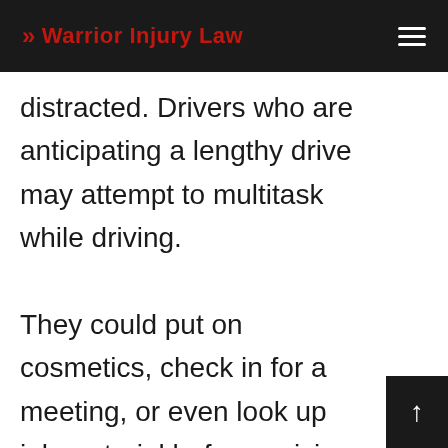>> Warrior Injury Law
distracted. Drivers who are anticipating a lengthy drive may attempt to multitask while driving.

They could put on cosmetics, check in for a meeting, or even look up job material before arriving at the workplace. Consequently, individuals spend most of their journey with their focus, hands, and eyes off the road. The more...